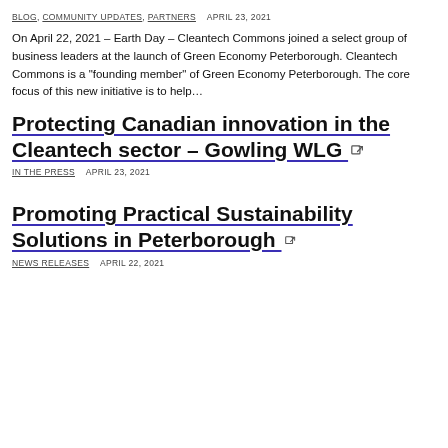BLOG, COMMUNITY UPDATES, PARTNERS   APRIL 23, 2021
On April 22, 2021 – Earth Day – Cleantech Commons joined a select group of business leaders at the launch of Green Economy Peterborough. Cleantech Commons is a “founding member” of Green Economy Peterborough. The core focus of this new initiative is to help…
Protecting Canadian innovation in the Cleantech sector – Gowling WLG
IN THE PRESS   APRIL 23, 2021
Promoting Practical Sustainability Solutions in Peterborough
NEWS RELEASES   APRIL 22, 2021